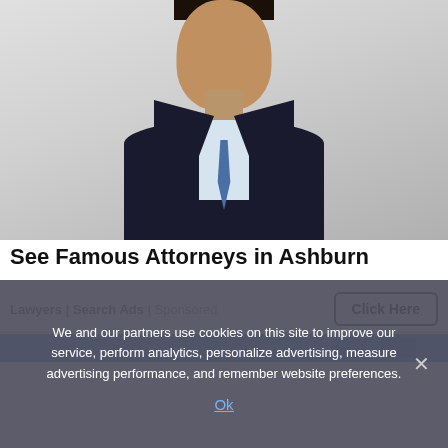[Figure (photo): Professional headshot of a young man in a dark suit, light blue shirt, and blue tie against a light gray background.]
See Famous Attorneys in Ashburn
Lawyers | Search Ads | Sponsored
Click Here
[Figure (screenshot): Partial strip of a second advertisement below a divider line, showing a blue background with partial icons.]
We and our partners use cookies on this site to improve our service, perform analytics, personalize advertising, measure advertising performance, and remember website preferences.
Ok